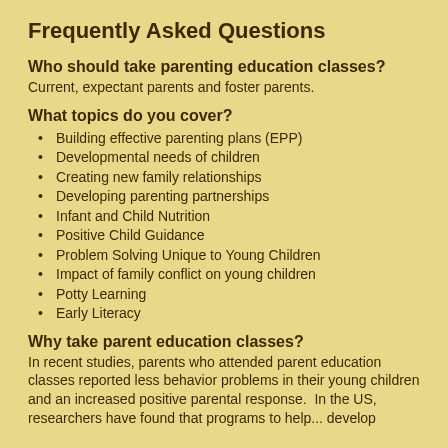Frequently Asked Questions
Who should take parenting education classes?
Current, expectant parents and foster parents.
What topics do you cover?
Building effective parenting plans (EPP)
Developmental needs of children
Creating new family relationships
Developing parenting partnerships
Infant and Child Nutrition
Positive Child Guidance
Problem Solving Unique to Young Children
Impact of family conflict on young children
Potty Learning
Early Literacy
Why take parent education classes?
In recent studies, parents who attended parent education classes reported less behavior problems in their young children and an increased positive parental response. In the US, researchers have found that programs to help... develop